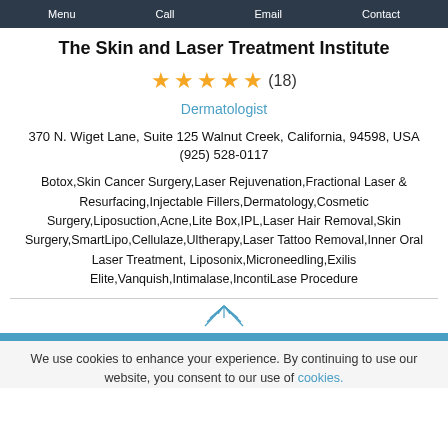Menu  Call  Email  Contact
The Skin and Laser Treatment Institute
★★★★★(18)
Dermatologist
370 N. Wiget Lane, Suite 125 Walnut Creek, California, 94598, USA
(925) 528-0117
Botox,Skin Cancer Surgery,Laser Rejuvenation,Fractional Laser & Resurfacing,Injectable Fillers,Dermatology,Cosmetic Surgery,Liposuction,Acne,Lite Box,IPL,Laser Hair Removal,Skin Surgery,SmartLipo,Cellulaze,Ultherapy,Laser Tattoo Removal,Inner Oral Laser Treatment,Liposonix,Microneedling,Exilis Elite,Vanquish,Intimalase,IncontiLase Procedure
We use cookies to enhance your experience. By continuing to use our website, you consent to our use of cookies.